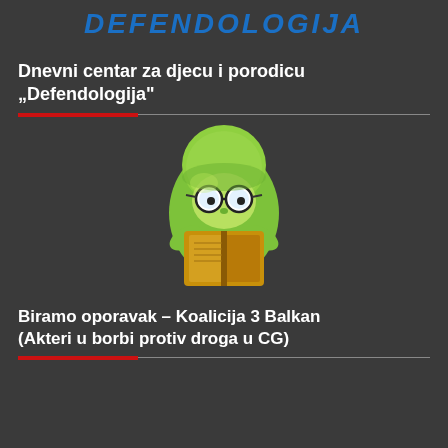DEFENDOLOGIJA
Dnevni centar za djecu i porodicu „Defendologija“
[Figure (illustration): 3D cartoon green bookworm character wearing glasses and reading a brown book]
Biramo oporavak – Koalicija 3 Balkan (Akteri u borbi protiv droga u CG)